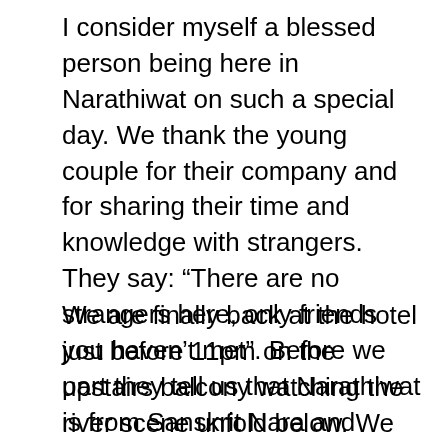I consider myself a blessed person being here in Narathiwat on such a special day. We thank the young couple for their company and for sharing their time and knowledge with strangers. They say: “There are no strangers here, only friends you haven’t met”. Before we part they tell us that Narathiwat is from Sanskrit Nara and adhivasa and means “the residence of wise people”!
We are finally back at the hotel just before 11pm on the upstairs balcony watching the river scene unfold below. We thought it would be all quiet but we were wrong. Eddie the Eggert master of the egg toddy is busy looking after the club. The club had been closed but...